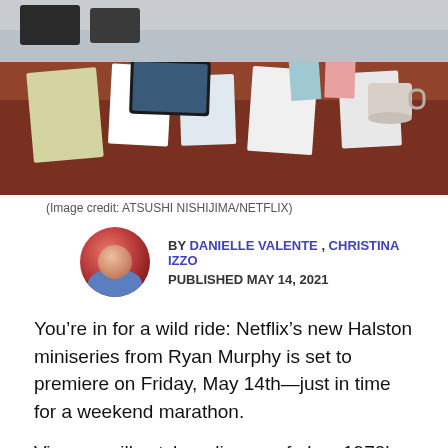[Figure (photo): Top-down view of a conference or design table with papers, tablets, and a coffee mug — a scene from the Netflix Halston miniseries.]
(Image credit: ATSUSHI NISHIJIMA/NETFLIX)
BY DANIELLE VALENTE , CHRISTINA IZZO
PUBLISHED MAY 14, 2021
You’re in for a wild ride: Netflix’s new Halston miniseries from Ryan Murphy is set to premiere on Friday, May 14th—just in time for a weekend marathon.
Viewers will catch a glimpse of glam 1970’s New York through the eyes of the iconic fashion designer Roy Halston Frowick, known single-name-style as Halston, who is played by Ewan McGregor. Plus, those who tune in will witness the ostentation and tumult that defined Halston’s